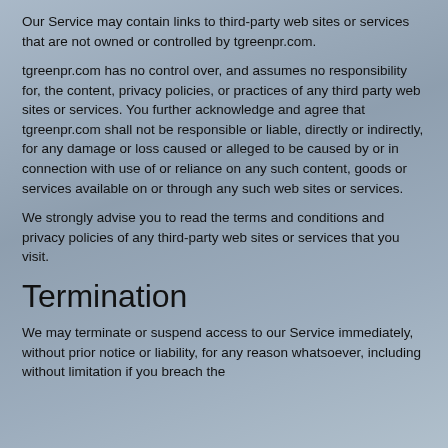Our Service may contain links to third-party web sites or services that are not owned or controlled by tgreenpr.com.
tgreenpr.com has no control over, and assumes no responsibility for, the content, privacy policies, or practices of any third party web sites or services. You further acknowledge and agree that tgreenpr.com shall not be responsible or liable, directly or indirectly, for any damage or loss caused or alleged to be caused by or in connection with use of or reliance on any such content, goods or services available on or through any such web sites or services.
We strongly advise you to read the terms and conditions and privacy policies of any third-party web sites or services that you visit.
Termination
We may terminate or suspend access to our Service immediately, without prior notice or liability, for any reason whatsoever, including without limitation if you breach the